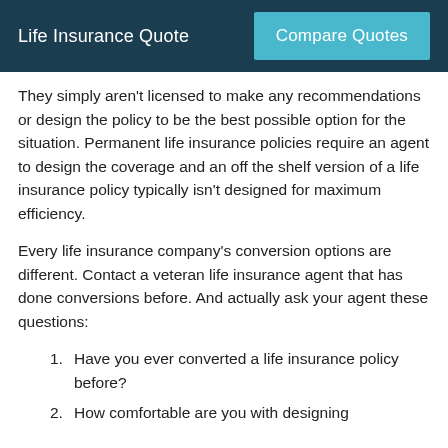Life Insurance Quote | Compare Quotes
They simply aren't licensed to make any recommendations or design the policy to be the best possible option for the situation. Permanent life insurance policies require an agent to design the coverage and an off the shelf version of a life insurance policy typically isn't designed for maximum efficiency.
Every life insurance company's conversion options are different. Contact a veteran life insurance agent that has done conversions before. And actually ask your agent these questions:
Have you ever converted a life insurance policy before?
How comfortable are you with designing